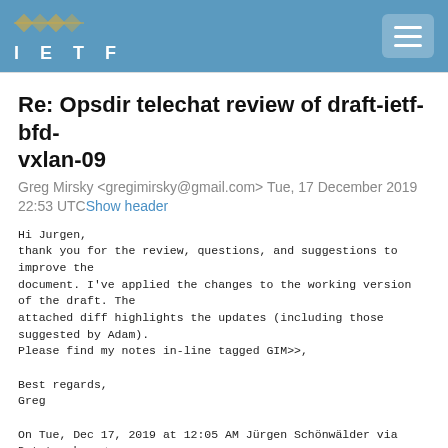IETF
Re: Opsdir telechat review of draft-ietf-bfd-vxlan-09
Greg Mirsky <gregimirsky@gmail.com> Tue, 17 December 2019 22:53 UTCShow header
Hi Jurgen,
thank you for the review, questions, and suggestions to improve the
document. I've applied the changes to the working version of the draft. The
attached diff highlights the updates (including those suggested by Adam).
Please find my notes in-line tagged GIM>>,

Best regards,
Greg

On Tue, Dec 17, 2019 at 12:05 AM Jürgen Schönwälder via Datatracker <
noreply@ietf.org> wrote:

* Reviewer: Jürgen Schönwälder